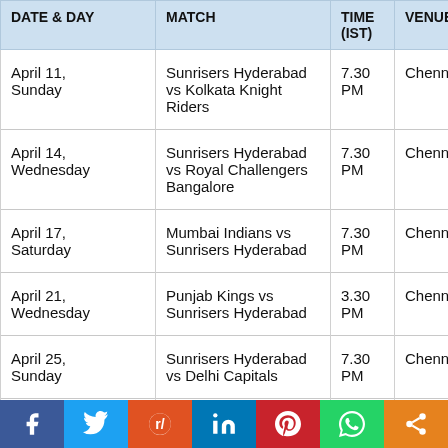| DATE & DAY | MATCH | TIME (IST) | VENUE |
| --- | --- | --- | --- |
| April 11, Sunday | Sunrisers Hyderabad vs Kolkata Knight Riders | 7.30 PM | Chennai |
| April 14, Wednesday | Sunrisers Hyderabad vs Royal Challengers Bangalore | 7.30 PM | Chennai |
| April 17, Saturday | Mumbai Indians vs Sunrisers Hyderabad | 7.30 PM | Chennai |
| April 21, Wednesday | Punjab Kings vs Sunrisers Hyderabad | 3.30 PM | Chennai |
| April 25, Sunday | Sunrisers Hyderabad vs Delhi Capitals | 7.30 PM | Chennai |
| April 28... | Chennai Super Ki... | 7.30... | Delhi... |